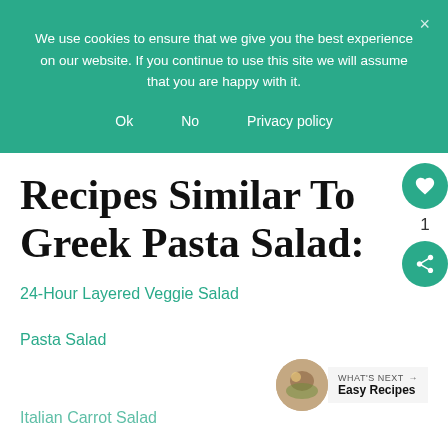We use cookies to ensure that we give you the best experience on our website. If you continue to use this site we will assume that you are happy with it.
Ok
No
Privacy policy
Recipes Similar To Greek Pasta Salad:
24-Hour Layered Veggie Salad
Pasta Salad
Italian Carrot Salad